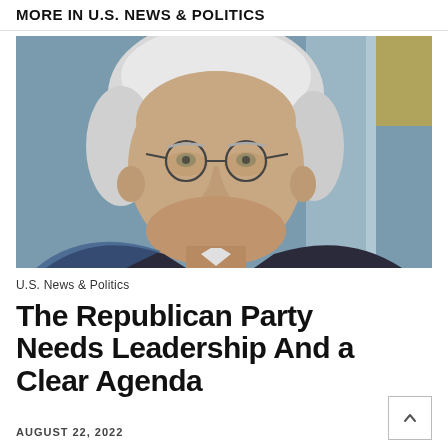MORE IN U.S. NEWS & POLITICS
[Figure (photo): Close-up portrait of an elderly man with white hair and round metal-framed glasses, wearing a dark suit, with a blurred blue-gray background]
U.S. News & Politics
The Republican Party Needs Leadership And a Clear Agenda
AUGUST 22, 2022